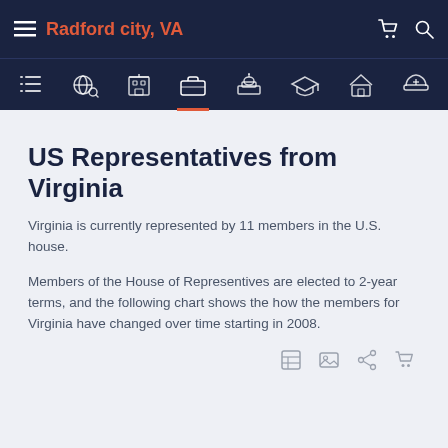Radford city, VA
US Representatives from Virginia
Virginia is currently represented by 11 members in the U.S. house.
Members of the House of Representives are elected to 2-year terms, and the following chart shows the how the members for Virginia have changed over time starting in 2008.